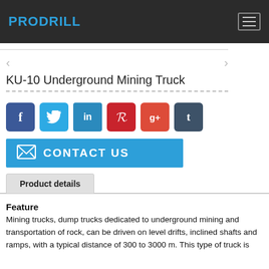PRODRILL
KU-10 Underground Mining Truck
[Figure (illustration): Row of social media share buttons: Facebook (blue), Twitter (light blue), LinkedIn (blue), Pinterest (red), Google+ (red-orange), Tumblr (dark blue-grey)]
[Figure (illustration): Blue Contact Us button with envelope icon on the left and 'CONTACT US' text in white capital letters]
Product details
Feature
Mining trucks, dump trucks dedicated to underground mining and transportation of rock, can be driven on level drifts, inclined shafts and ramps, with a typical distance of 300 to 3000 m. This type of truck is